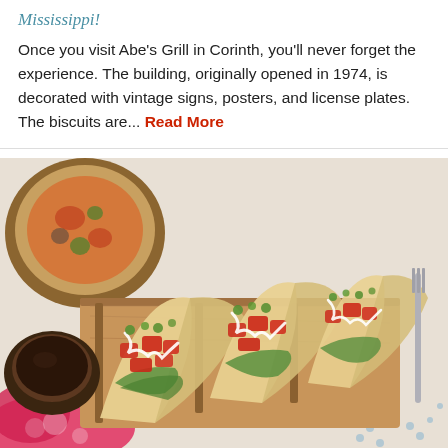Mississippi!
Once you visit Abe's Grill in Corinth, you'll never forget the experience. The building, originally opened in 1974, is decorated with vintage signs, posters, and license plates. The biscuits are... Read More
[Figure (photo): Close-up photo of multiple tacos filled with grilled chicken, diced tomatoes, shredded lettuce, cilantro, and drizzled with sour cream/white sauce, served on a wooden tray holder. A small bowl of dark dipping sauce is on the left. Background includes a pizza on a wooden board (upper left) and a floral tablecloth visible at the bottom.]